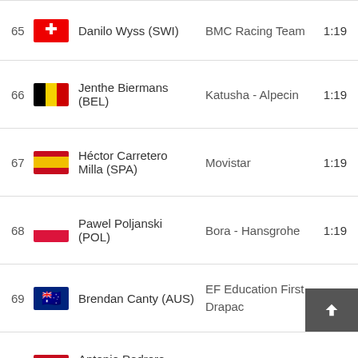| # | Flag | Name | Team | Time |
| --- | --- | --- | --- | --- |
| 65 | SWI | Danilo Wyss (SWI) | BMC Racing Team | 1:19 |
| 66 | BEL | Jenthe Biermans (BEL) | Katusha - Alpecin | 1:19 |
| 67 | SPA | Héctor Carretero Milla (SPA) | Movistar | 1:19 |
| 68 | POL | Pawel Poljanski (POL) | Bora - Hansgrohe | 1:19 |
| 69 | AUS | Brendan Canty (AUS) | EF Education First - Drapac | 1:19 |
| 70 | SPA | Antonio Pedrero Lopez (SPA) | Movistar | 1:19 |
| 71 | FRA | Florian Sénéchal | Quick Stop Floors | 1:19 |